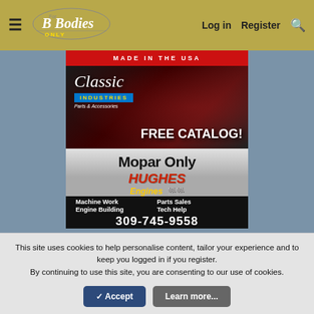For B Bodies Only — Log in Register
[Figure (screenshot): Made in the USA red banner strip]
[Figure (screenshot): Classic Industries Parts & Accessories — FREE CATALOG! advertisement with dark car background]
[Figure (screenshot): Hughes Engines — Mopar Only. Machine Work, Parts Sales, Engine Building, Tech Help. 309-745-9558]
[Figure (screenshot): High Performance advertisement banner (partial)]
This site uses cookies to help personalise content, tailor your experience and to keep you logged in if you register. By continuing to use this site, you are consenting to our use of cookies.
✓ Accept   Learn more...